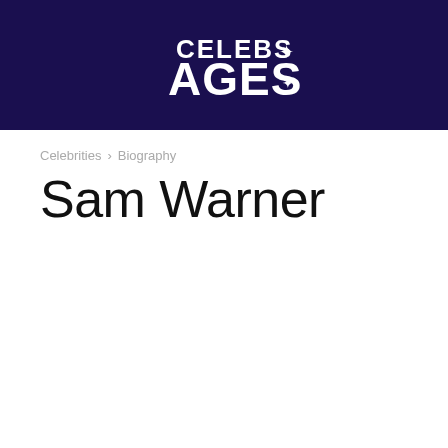[Figure (logo): Celebs Ages logo — white text on dark navy background]
Celebrities › Biography
Sam Warner